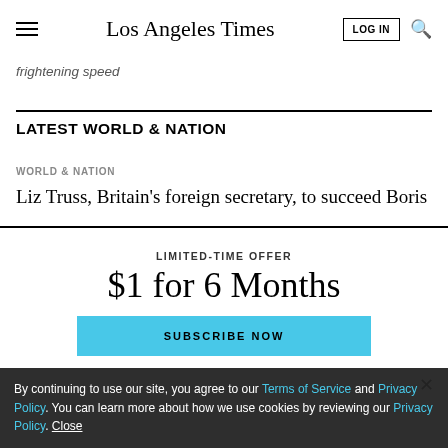Los Angeles Times
frightening speed
LATEST WORLD & NATION
WORLD & NATION
Liz Truss, Britain's foreign secretary, to succeed Boris
LIMITED-TIME OFFER
$1 for 6 Months
SUBSCRIBE NOW
By continuing to use our site, you agree to our Terms of Service and Privacy Policy. You can learn more about how we use cookies by reviewing our Privacy Policy. Close